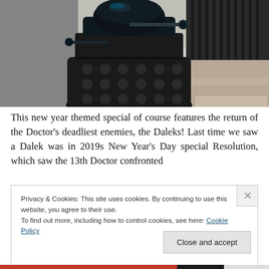[Figure (photo): Close-up photograph of a Dalek (from Doctor Who) in front of what appears to be a building with black iron railings. The Dalek is dark/black in color with its characteristic eyestalk visible.]
This new year themed special of course features the return of the Doctor's deadliest enemies, the Daleks! Last time we saw a Dalek was in 2019s New Year's Day special Resolution, which saw the 13th Doctor confronted
Privacy & Cookies: This site uses cookies. By continuing to use this website, you agree to their use.
To find out more, including how to control cookies, see here: Cookie Policy
Close and accept